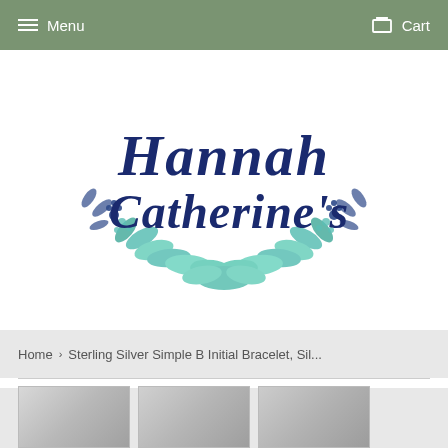Menu  Cart
[Figure (logo): Hannah Catherine's watercolor script logo with teal and blue floral wreath border]
Home  >  Sterling Silver Simple B Initial Bracelet, Sil...
[Figure (photo): Three product thumbnail images of silver bracelets]